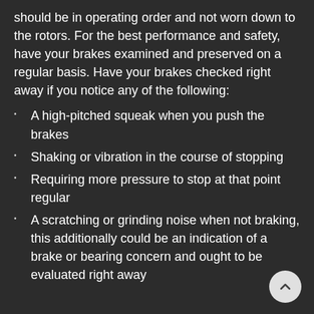should be in operating order and not worn down to the rotors. For the best performance and safety, have your brakes examined and preserved on a regular basis. Have your brakes checked right away if you notice any of the following:
A high-pitched squeak when you push the brakes
Shaking or vibration in the course of stopping
Requiring more pressure to stop at that point regular
A scratching or grinding noise when not braking, this additionally could be an indication of a brake or bearing concern and ought to be evaluated right away